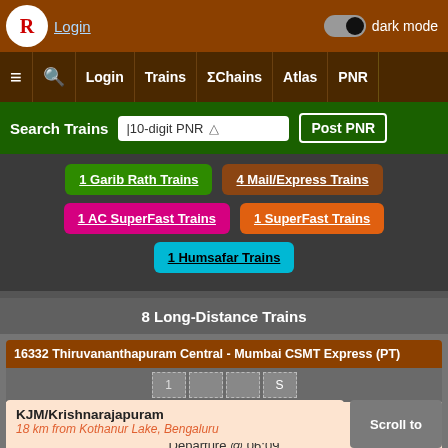[Figure (screenshot): Indian Railways website screenshot showing train search interface with navigation bar, search options, category buttons for different train types, and train listing results]
Login  dark mode
≡  🔍  Login  Trains  ΣChains  Atlas  PNR
Search Trains  10-digit PNR  Post PNR
1 Garib Rath Trains
4 Mail/Express Trains
1 AC SuperFast Trains
1 SuperFast Trains
1 Humsafar Trains
8 Long-Distance Trains
16332 Thiruvananthapuram Central - Mumbai CSMT Express (PT)
KYJ/Kayamkulam Junction
20 km from Chengannur
Departure @ 06:09
KJM/Krishnarajapuram
18 km from Kothanur Lake, Bengaluru
Scroll to